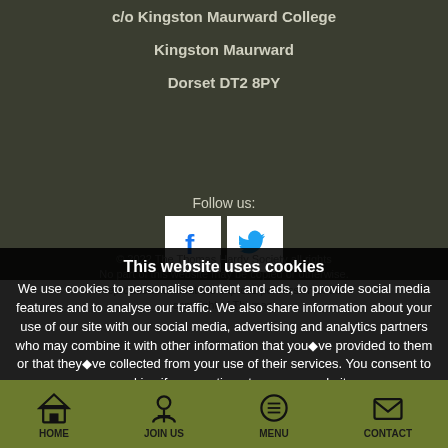The Thomas Hardy Society
c/o Kingston Maurward College
Kingston Maurward
Dorset DT2 8PY
Follow us:
[Figure (logo): Facebook icon (white box with blue f)]
[Figure (logo): Twitter icon (white box with blue bird)]
© 2022 The Thomas Hardy Society all rights
No part of this website may be copied or otherwise reproduced without the express permission of the copyright of Thomas Hardy.
This website uses cookies
We use cookies to personalise content and ads, to provide social media features and to analyse our traffic. We also share information about your use of our site with our social media, advertising and analytics partners who may combine it with other information that you◆ve provided to them or that they◆ve collected from your use of their services. You consent to our cookies if you continue to use our website.
OK Accept Cookies
HOME    JOIN US    MENU    CONTACT